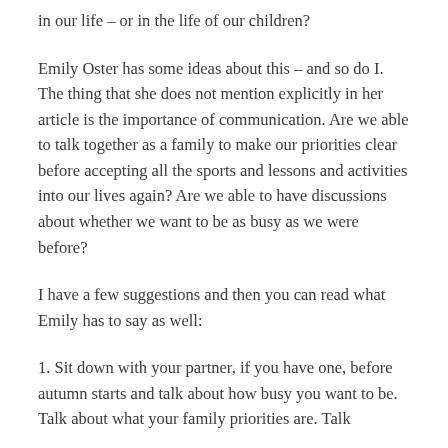in our life – or in the life of our children?
Emily Oster has some ideas about this – and so do I. The thing that she does not mention explicitly in her article is the importance of communication. Are we able to talk together as a family to make our priorities clear before accepting all the sports and lessons and activities into our lives again? Are we able to have discussions about whether we want to be as busy as we were before?
I have a few suggestions and then you can read what Emily has to say as well:
1. Sit down with your partner, if you have one, before autumn starts and talk about how busy you want to be.  Talk about what your family priorities are. Talk